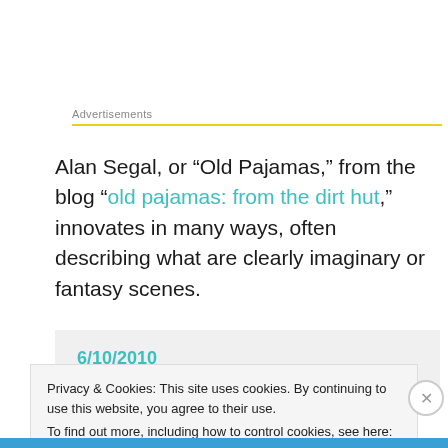Advertisements
Alan Segal, or “Old Pajamas,” from the blog “old pajamas: from the dirt hut,” innovates in many ways, often describing what are clearly imaginary or fantasy scenes.
6/10/2010
mourner’s kaddish
Privacy & Cookies: This site uses cookies. By continuing to use this website, you agree to their use.
To find out more, including how to control cookies, see here: Cookie Policy
Close and accept